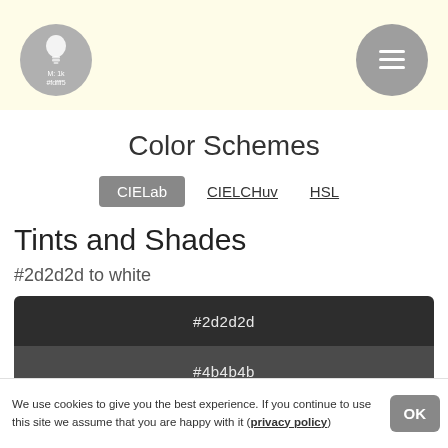M: 1k #fdfff5
[Figure (logo): Circular gray logo with lightbulb icon and text 'M: 1k #fdfff5']
[Figure (other): Gray circle hamburger menu button]
Color Schemes
CIELab | CIELCHuv | HSL
Tints and Shades
#2d2d2d to white
[Figure (infographic): Color swatches: #2d2d2d (dark), #4b4b4b (medium dark), #6c6c6c (gray)]
We use cookies to give you the best experience. If you continue to use this site we assume that you are happy with it (privacy policy) OK